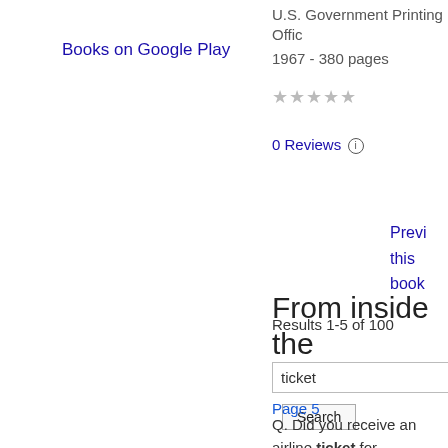Books on Google Play
U.S. Government Printing Office
1967 - 380 pages
★★★★★ 0 Reviews
Preview this book
From inside the book
ticket
Search
Results 1-5 of 100
Page 5
Q. Did you receive an airline ticket for transportation ? A. Yes , sir : I did . Q. Will you tell us in your own words the